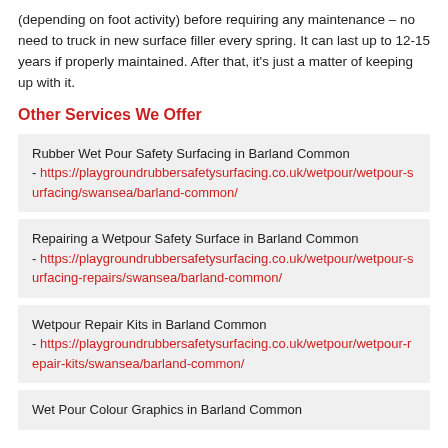(depending on foot activity) before requiring any maintenance – no need to truck in new surface filler every spring. It can last up to 12-15 years if properly maintained. After that, it's just a matter of keeping up with it.
Other Services We Offer
Rubber Wet Pour Safety Surfacing in Barland Common - https://playgroundrubbersafetysurfacing.co.uk/wetpour/wetpour-surfacing/swansea/barland-common/
Repairing a Wetpour Safety Surface in Barland Common - https://playgroundrubbersafetysurfacing.co.uk/wetpour/wetpour-surfacing-repairs/swansea/barland-common/
Wetpour Repair Kits in Barland Common - https://playgroundrubbersafetysurfacing.co.uk/wetpour/wetpour-repair-kits/swansea/barland-common/
Wet Pour Colour Graphics in Barland Common